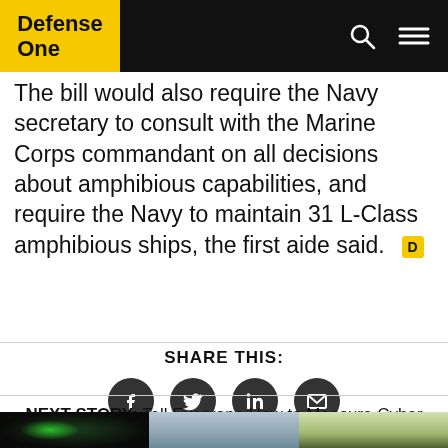Defense One
The bill would also require the Navy secretary to consult with the Marine Corps commandant on all decisions about amphibious capabilities, and require the Navy to maintain 31 L-Class amphibious ships, the first aide said.
SHARE THIS:
[Figure (infographic): Four circular social share buttons: Facebook, Twitter, LinkedIn, Email]
NEXT STORY: Tell Everyone How to Measure Cyber Risk, DOD Begs NIST
[Figure (photo): Three thumbnail images in a row at the bottom: dark tech image, city skyline, green outdoor scene]